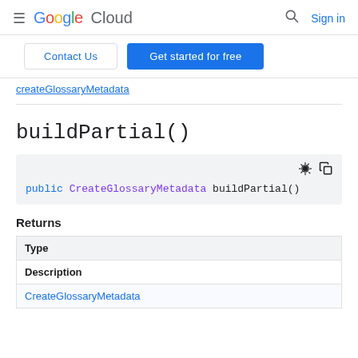Google Cloud  Sign in
Contact Us  Get started for free
createGlossaryMetadata
buildPartial()
public CreateGlossaryMetadata buildPartial()
Returns
| Type |
| --- |
| Description |
| CreateGlossaryMetadata |